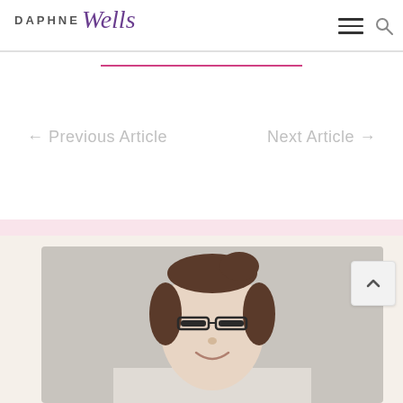DAPHNE Wells
[Figure (illustration): Horizontal decorative divider line in crimson/dark pink]
← Previous Article    Next Article →
[Figure (photo): Portrait photograph of a woman with glasses and dark hair pulled back, smiling, against a light grey studio background]